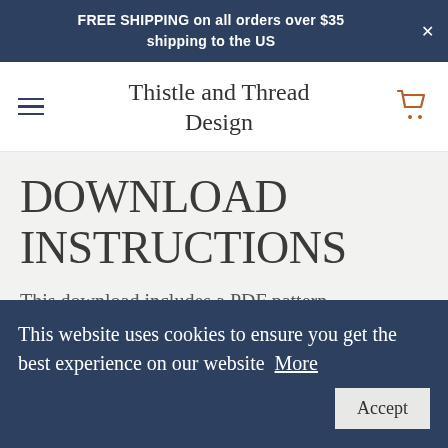FREE SHIPPING on all orders over $35 shipping to the US
Thistle and Thread Design
DOWNLOAD INSTRUCTIONS
This download includes a PDF pattern
This website uses cookies to ensure you get the best experience on our website More
Accept